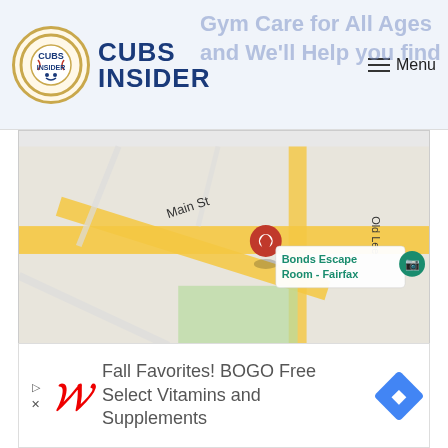Cubs Insider — Menu
[Figure (map): Google Maps showing location of Bonds Escape Room - Fairfax, with Main St and Old Lee visible, red location pin on the venue]
Store info
Directions
[Figure (infographic): Walgreens advertisement: Fall Favorites! BOGO Free Select Vitamins and Supplements]